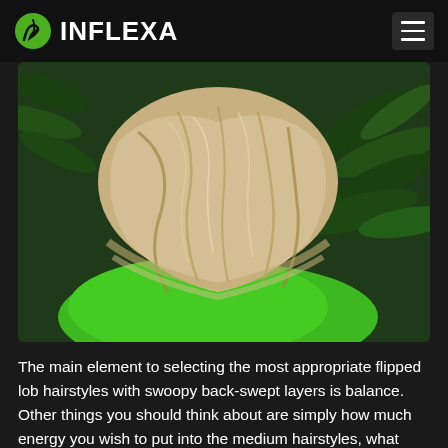INFLEXA
[Figure (photo): Back view of a person with medium-length blonde layered hair, wearing a bright green top, with green ferns/foliage in the background]
The main element to selecting the most appropriate flipped lob hairstyles with swoopy back-swept layers is balance. Other things you should think about are simply how much energy you wish to put into the medium hairstyles, what type of search you would like, and whether or not you intend to perform up or play down specific features. Modify is excellent, a new and fresh medium hairstyles could bring you the energy and confidence. The flipped lob hairstyles with swoopy back-swept layers may transform your